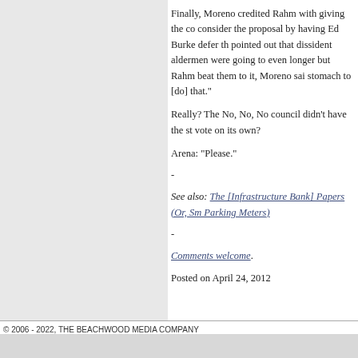Finally, Moreno credited Rahm with giving the co consider the proposal by having Ed Burke defer th pointed out that dissident aldermen were going to even longer but Rahm beat them to it, Moreno sai stomach to [do] that."
Really? The No, No, No council didn't have the st vote on its own?
Arena: "Please."
-
See also: The [Infrastructure Bank] Papers (Or, Sm Parking Meters)
-
Comments welcome.
Posted on April 24, 2012
© 2006 - 2022, THE BEACHWOOD MEDIA COMPANY